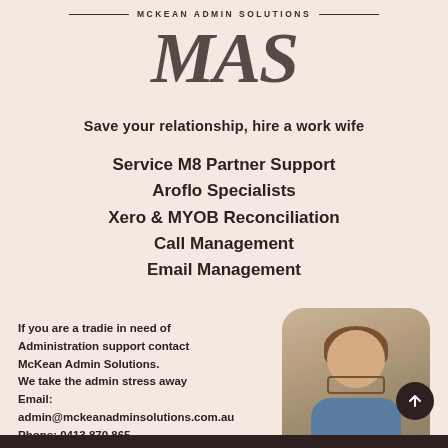MCKEAN ADMIN SOLUTIONS
MAS
Save your relationship, hire a work wife
Service M8 Partner Support
Aroflo Specialists
Xero & MYOB Reconciliation
Call Management
Email Management
If you are a tradie in need of Administration support contact McKean Admin Solutions. We take the admin stress away Email: admin@mckeanadminsolutions.com.au Phone: 0413 870 865
[Figure (photo): Headshot photo of a woman with glasses and long hair, smiling, with rounded corner frame]